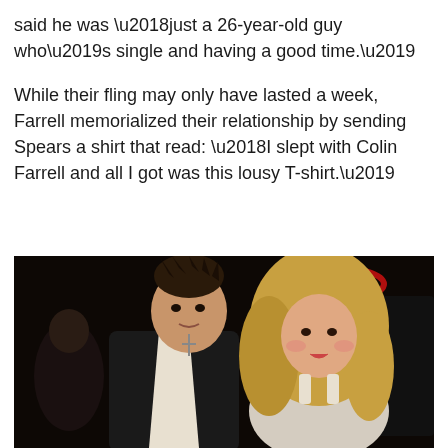said he was ‘just a 26-year-old guy who’s single and having a good time.’

While their fling may only have lasted a week, Farrell memorialized their relationship by sending Spears a shirt that read: ‘I slept with Colin Farrell and all I got was this lousy T-shirt.’
[Figure (photo): Photo of a man and a woman at what appears to be a nightclub or entertainment venue. The man on the left has spiky dark hair, wearing a black jacket over an open white shirt with a cross necklace. The woman on the right has long blonde wavy hair and is wearing a light-colored outfit. There are red neon lights visible in the dark background.]